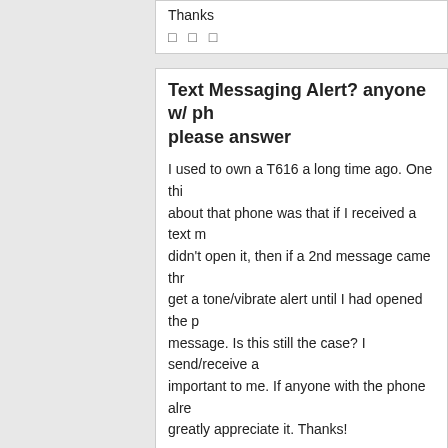Thanks
□ □ □
Text Messaging Alert? anyone w/ phone please answer
I used to own a T616 a long time ago. One thing about that phone was that if I received a text m didn't open it, then if a 2nd message came thro get a tone/vibrate alert until I had opened the p message. Is this still the case? I send/receive a important to me. If anyone with the phone alrea greatly appreciate it. Thanks!
FM Radio
Does the FM radio require a headset to work?
Yes, the headset cord acts as the antenna.